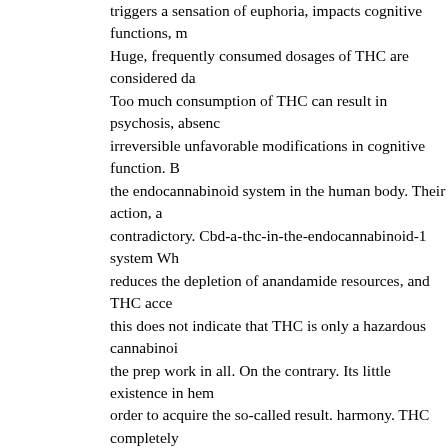triggers a sensation of euphoria, impacts cognitive functions, m Huge, frequently consumed dosages of THC are considered da Too much consumption of THC can result in psychosis, absenc irreversible unfavorable modifications in cognitive function. B the endocannabinoid system in the human body. Their action, a contradictory. Cbd-a-thc-in-the-endocannabinoid-1 system Wh reduces the depletion of anandamide resources, and THC acce this does not indicate that THC is only a hazardous cannabinoi the prep work in all. On the contrary. Its little existence in hem order to acquire the so-called result. harmony. THC completely such a marginal as well as, importantly, legal amount. This am that it does not trigger drunkenness. Interacting, THC and CBD either particle acting alone. What is anandamide (AEA)? What experiencing depression? Keep reading! CBD, Clinical depress system The endocannabinoid system is a crucial system in cha human physical procedures, such as power management, neuro neuroimmune connections, motor activity, state of mind and al metabolism. The endocannabinoid system includes a natural ch (AEA). Anandamide is a neurotransmitter that is normally crea manufacturing is promoted by e.g. physical activity, as well as called deal with the body (massage!). Its sources are "used" to of the body, including in the field of mental wellness. As show https://www.ncbi.nlm.nih.gov/pubmed/23580381 high levels o with a decreased risk of creating psychotic signs and symptom is also related to a favorable result on the decrease of depressio symptoms. This system is still not completely recognized, yet